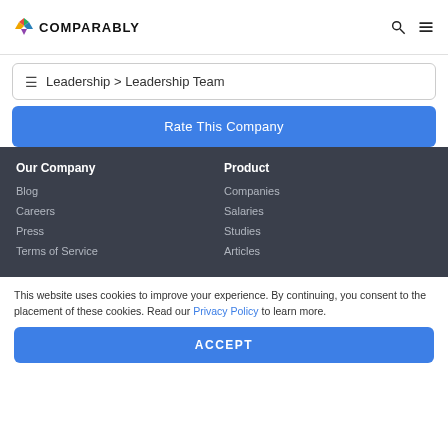COMPARABLY
Leadership > Leadership Team
Rate This Company
Our Company
Blog
Careers
Press
Terms of Service
Product
Companies
Salaries
Studies
Articles
This website uses cookies to improve your experience. By continuing, you consent to the placement of these cookies. Read our Privacy Policy to learn more.
ACCEPT